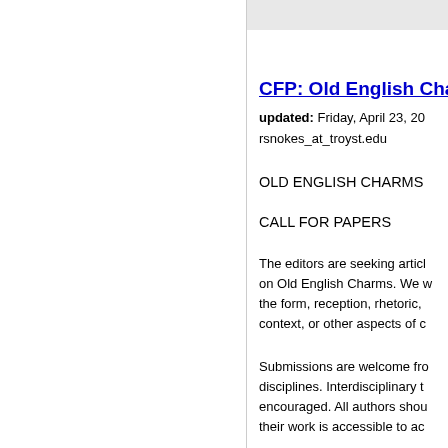CFP: Old English Cha...
updated: Friday, April 23, 20...
rsnokes_at_troyst.edu
OLD ENGLISH CHARMS
CALL FOR PAPERS
The editors are seeking articl... on Old English Charms. We w... the form, reception, rhetoric, ... context, or other aspects of c...
Submissions are welcome fro... disciplines. Interdisciplinary t... encouraged. All authors shou... their work is accessible to aca...